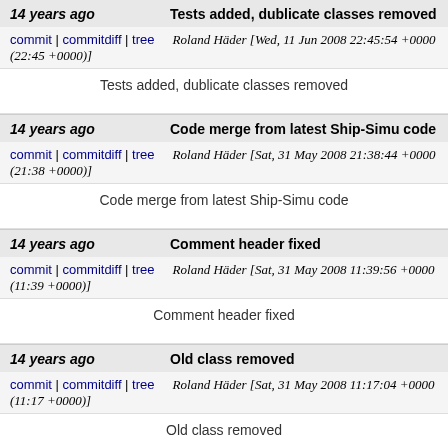14 years ago | Tests added, dublicate classes removed
commit | commitdiff | tree   Roland Häder [Wed, 11 Jun 2008 22:45:54 +0000 (22:45 +0000)]
Tests added, dublicate classes removed
14 years ago | Code merge from latest Ship-Simu code
commit | commitdiff | tree   Roland Häder [Sat, 31 May 2008 21:38:44 +0000 (21:38 +0000)]
Code merge from latest Ship-Simu code
14 years ago | Comment header fixed
commit | commitdiff | tree   Roland Häder [Sat, 31 May 2008 11:39:56 +0000 (11:39 +0000)]
Comment header fixed
14 years ago | Old class removed
commit | commitdiff | tree   Roland Häder [Sat, 31 May 2008 11:17:04 +0000 (11:17 +0000)]
Old class removed